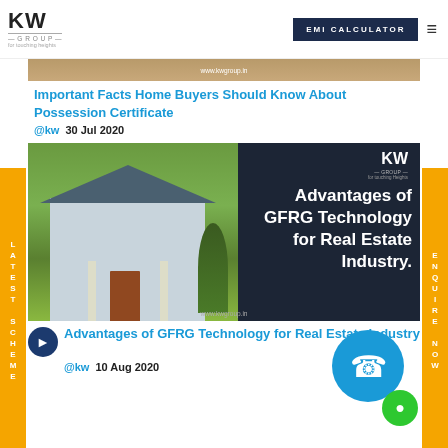KW GROUP — For touching Heights | EMI CALCULATOR
[Figure (photo): Article thumbnail image strip — www.kwgroup.in]
Important Facts Home Buyers Should Know About Possession Certificate
@kw  30 Jul 2020
[Figure (photo): House photo with text overlay: Advantages of GFRG Technology for Real Estate Industry. KW logo and www.kwgroup.in watermark.]
Advantages of GFRG Technology for Real Estate Industry
@kw  10 Aug 2020